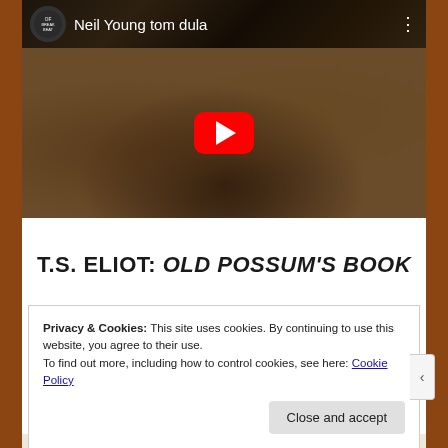[Figure (screenshot): YouTube video thumbnail for 'Neil Young tom dula' with a sepia-toned historical photo showing figures in early automobile, red YouTube play button overlay, channel icon and title in top bar]
T.S. ELIOT: OLD POSSUM'S BOOK
Privacy & Cookies: This site uses cookies. By continuing to use this website, you agree to their use.
To find out more, including how to control cookies, see here: Cookie Policy
Close and accept